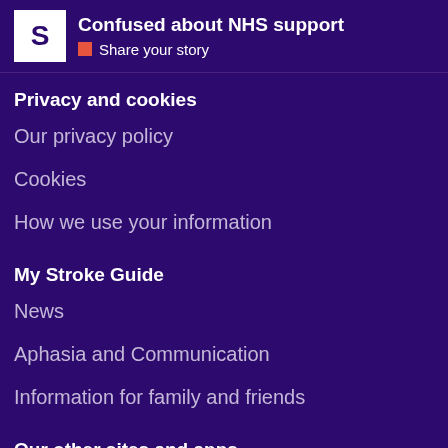Confused about NHS support | Share your story
Privacy and cookies
Our privacy policy
Cookies
How we use your information
My Stroke Guide
News
Aphasia and Communication
Information for family and friends
Our other sites and apps
Stroke Association website
Shop
Digital Health Assistant